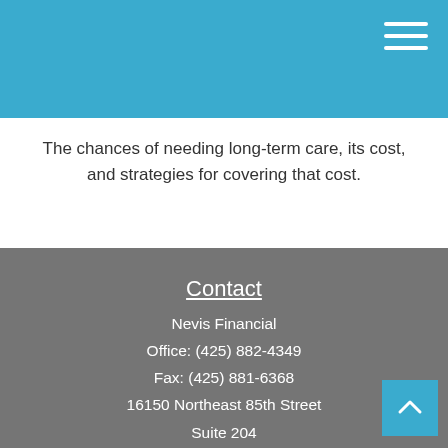The chances of needing long-term care, its cost, and strategies for covering that cost.
Contact
Nevis Financial
Office: (425) 882-4349
Fax: (425) 881-6368
16150 Northeast 85th Street
Suite 204
Redmond, WA 98052
Series 7, 66
operations@nevisfinancial.com